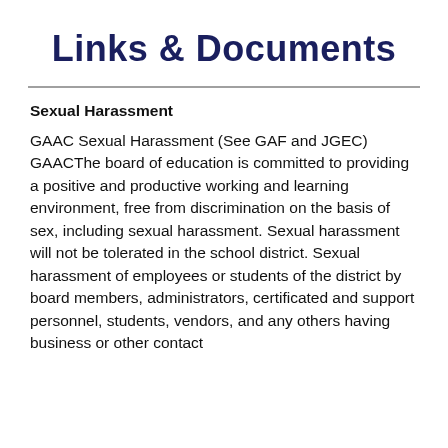Links & Documents
Sexual Harassment
GAAC Sexual Harassment (See GAF and JGEC) GAACThe board of education is committed to providing a positive and productive working and learning environment, free from discrimination on the basis of sex, including sexual harassment. Sexual harassment will not be tolerated in the school district. Sexual harassment of employees or students of the district by board members, administrators, certificated and support personnel, students, vendors, and any others having business or other contact